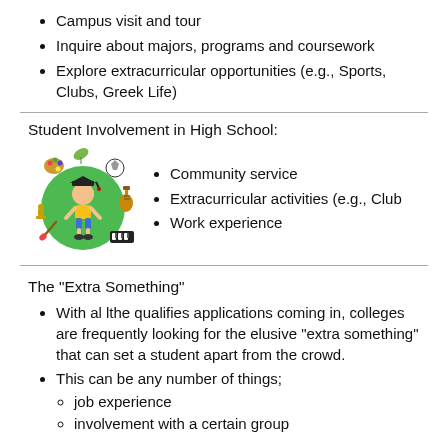Campus visit and tour
Inquire about majors, programs and coursework
Explore extracurricular opportunities (e.g., Sports, Clubs, Greek Life)
Student Involvement in High School:
[Figure (illustration): Cartoon child in graduation cap standing in green circle surrounded by activity icons (sports ball, guitar, piano, art palette, chess piece, leaf, trophy)]
Community service
Extracurricular activities (e.g., Club
Work experience
The "Extra Something"
With al lthe qualifies applications coming in, colleges are frequently looking for the elusive "extra something" that can set a student apart from the crowd.
This can be any number of things;
job experience
involvement with a certain group